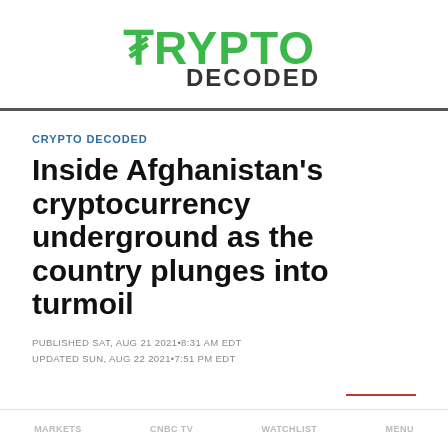[Figure (logo): Crypto Decoded logo — 'CRYPTO' in bold green with a Bitcoin symbol replacing the C, 'DECODED' in dark grey bold beneath]
CRYPTO DECODED
Inside Afghanistan's cryptocurrency underground as the country plunges into turmoil
PUBLISHED SAT, AUG 21 2021•8:31 AM EDT
UPDATED SUN, AUG 22 2021•7:51 PM EDT
MARKETS   CNBC TV   WATCHLIST   MENU